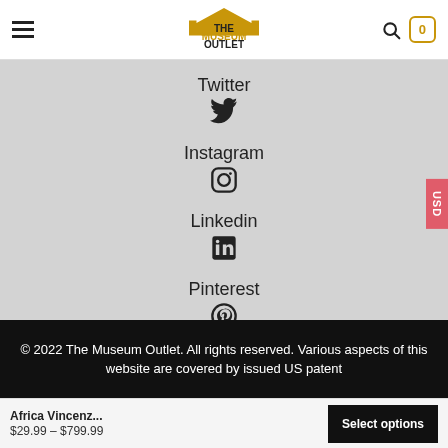The Museum Outlet — navigation header with logo, search, and cart (0)
Twitter
Instagram
Linkedin
Pinterest
© 2022 The Museum Outlet. All rights reserved. Various aspects of this website are covered by issued US patent
Africa Vincenz...  $29.99 – $799.99
Select options